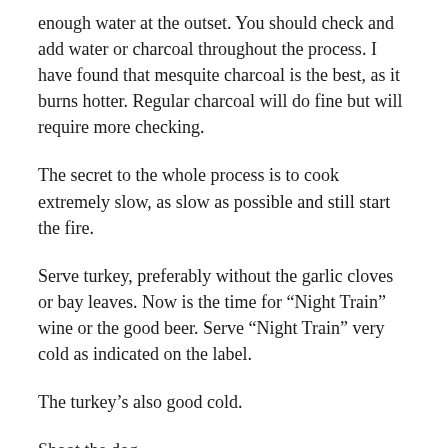enough water at the outset. You should check and add water or charcoal throughout the process. I have found that mesquite charcoal is the best, as it burns hotter. Regular charcoal will do fine but will require more checking.
The secret to the whole process is to cook extremely slow, as slow as possible and still start the fire.
Serve turkey, preferably without the garlic cloves or bay leaves. Now is the time for “Night Train” wine or the good beer. Serve “Night Train” very cold as indicated on the label.
The turkey’s also good cold.
Shoot the dog.